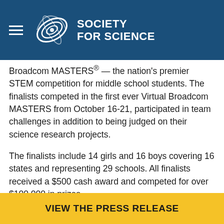Society for Science
Broadcom MASTERS® — the nation's premier STEM competition for middle school students. The finalists competed in the first ever Virtual Broadcom MASTERS from October 16-21, participated in team challenges in addition to being judged on their science research projects.
The finalists include 14 girls and 16 boys covering 16 states and representing 29 schools. All finalists received a $500 cash award and competed for over $100,000 in prizes.
VIEW THE PRESS RELEASE